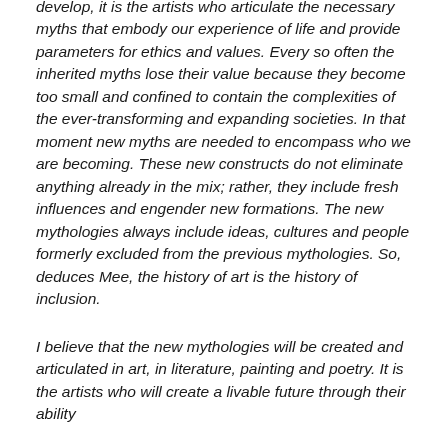develop, it is the artists who articulate the necessary myths that embody our experience of life and provide parameters for ethics and values. Every so often the inherited myths lose their value because they become too small and confined to contain the complexities of the ever-transforming and expanding societies. In that moment new myths are needed to encompass who we are becoming. These new constructs do not eliminate anything already in the mix; rather, they include fresh influences and engender new formations. The new mythologies always include ideas, cultures and people formerly excluded from the previous mythologies. So, deduces Mee, the history of art is the history of inclusion.
I believe that the new mythologies will be created and articulated in art, in literature, painting and poetry. It is the artists who will create a livable future through their ability